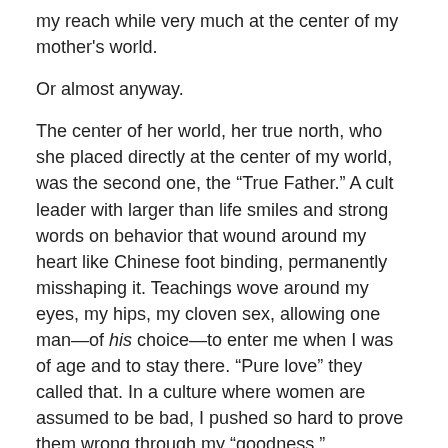my reach while very much at the center of my mother's world.
Or almost anyway.
The center of her world, her true north, who she placed directly at the center of my world, was the second one, the “True Father.” A cult leader with larger than life smiles and strong words on behavior that wound around my heart like Chinese foot binding, permanently misshaping it. Teachings wove around my eyes, my hips, my cloven sex, allowing one man—of his choice—to enter me when I was of age and to stay there. “Pure love” they called that. In a culture where women are assumed to be bad, I pushed so hard to prove them wrong through my “goodness.”
I will never know the woman I might have been. Then again, I would not have existed had my biological parents not fallen completely for this “True Father.”
True Father. True Love. Phrases that have me looking for a font